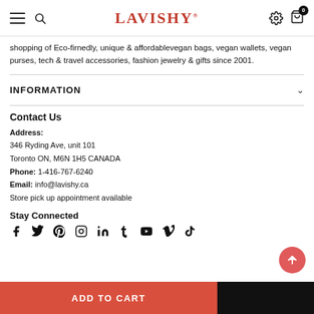LAVISHY
shopping of Eco-firnedly, unique & affordablevegan bags, vegan wallets, vegan purses, tech & travel accessories, fashion jewelry & gifts since 2001.
INFORMATION
Contact Us
Address: 346 Ryding Ave, unit 101 Toronto ON, M6N 1H5 CANADA Phone: 1-416-767-6240 Email: info@lavishy.ca Store pick up appointment available
Stay Connected
[Figure (infographic): Social media icons: Facebook, Twitter, Pinterest, Instagram, LinkedIn, Tumblr, YouTube, Vimeo, TikTok]
ADD TO CART